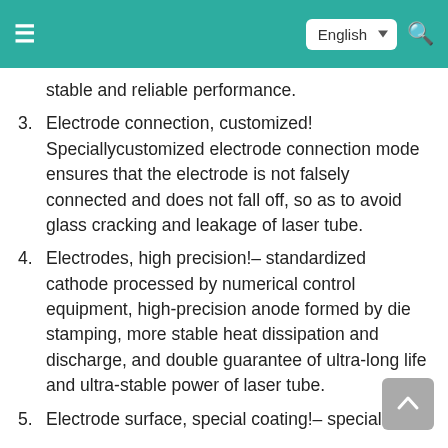English
stable and reliable performance.
3. Electrode connection, customized! Speciallycustomized electrode connection mode ensures that the electrode is not falsely connected and does not fall off, so as to avoid glass cracking and leakage of laser tube.
4. Electrodes, high precision!– standardized cathode processed by numerical control equipment, high-precision anode formed by die stamping, more stable heat dissipation and discharge, and double guarantee of ultra-long life and ultra-stable power of laser tube.
5. Electrode surface, special coating!– special